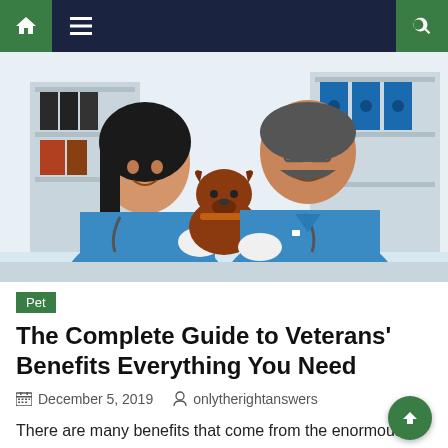Navigation bar with home, menu, and search icons
[Figure (photo): Two veterinarians in blue scrubs holding a small brown dog in a clinical setting with bookshelves in the background]
Pet
The Complete Guide to Veterans' Benefits Everything You Need
December 5, 2019   onlytherightanswers
There are many benefits that come from the enormous sacrifices required of those who serve in the United St Equipped Forces, and another of them is that U. H. veterans